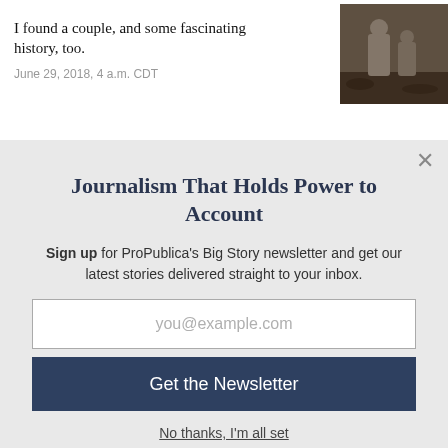I found a couple, and some fascinating history, too.
June 29, 2018, 4 a.m. CDT
[Figure (photo): Photo of gravestones in a wooded outdoor setting]
Journalism That Holds Power to Account
Sign up for ProPublica's Big Story newsletter and get our latest stories delivered straight to your inbox.
you@example.com
Get the Newsletter
No thanks, I'm all set
This site is protected by reCAPTCHA and the Google Privacy Policy and Terms of Service apply.